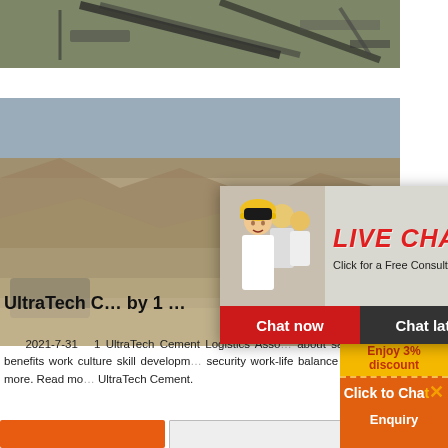[Figure (photo): Aerial view of a mining/quarrying site with conveyor belts and equipment]
[Figure (photo): Quarry site with rocky cliff face, mining machinery, and equipment in background]
[Figure (screenshot): Live chat popup overlay with workers in hard hats, showing LIVE CHAT heading, Chat now and Chat later buttons]
[Figure (infographic): Right orange sidebar with crusher/mill machine images, Enjoy 3% discount, Click to Chat, and Enquiry text]
UltraTech C... by 1 ...
2021-7-31   1 UltraTech Cement Logistics Asso... about salary benefits work culture skill developm... security work-life balance and more. Read mo... UltraTech Cement.